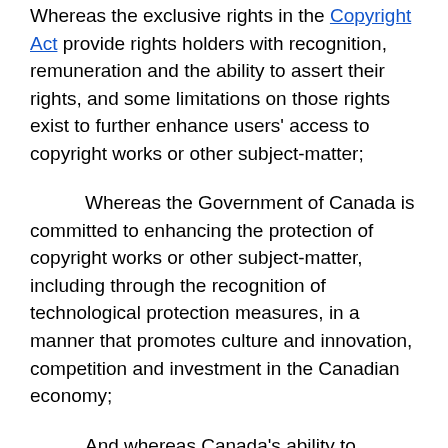Whereas the exclusive rights in the Copyright Act provide rights holders with recognition, remuneration and the ability to assert their rights, and some limitations on those rights exist to further enhance users' access to copyright works or other subject-matter;
Whereas the Government of Canada is committed to enhancing the protection of copyright works or other subject-matter, including through the recognition of technological protection measures, in a manner that promotes culture and innovation, competition and investment in the Canadian economy;
And whereas Canada's ability to participate in a knowledge economy driven by innovation and network connectivity is fostered by encouraging the use of digital technologies for research and education;
Now, therefore, Her Majesty, by and with the advice